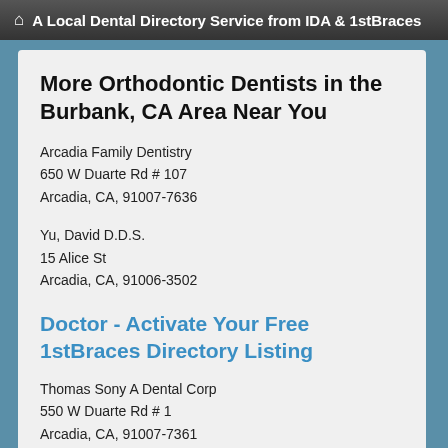A Local Dental Directory Service from IDA & 1stBraces
More Orthodontic Dentists in the Burbank, CA Area Near You
Arcadia Family Dentistry
650 W Duarte Rd # 107
Arcadia, CA, 91007-7636
Yu, David D.D.S.
15 Alice St
Arcadia, CA, 91006-3502
Doctor - Activate Your Free 1stBraces Directory Listing
Thomas Sony A Dental Corp
550 W Duarte Rd # 1
Arcadia, CA, 91007-7361
A millot D.D.S. dental corporation